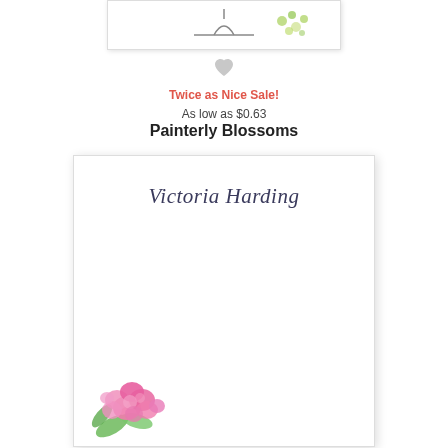[Figure (illustration): Partial product card shown at top of page with a hanger and green floral pattern, cropped]
[Figure (illustration): Light gray heart/favorite icon]
Twice as Nice Sale!
As low as $0.63
Painterly Blossoms
[Figure (illustration): Notepad product preview card showing 'Victoria Harding' in script at top and pink painterly blossoms flower illustration in bottom-left corner]